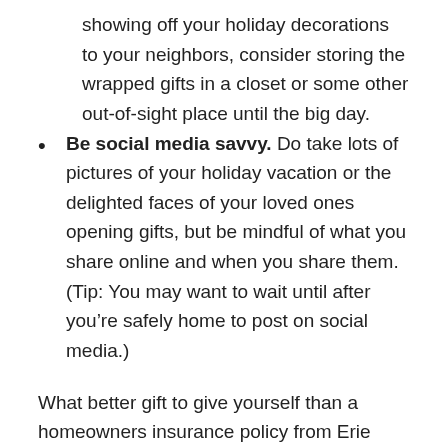showing off your holiday decorations to your neighbors, consider storing the wrapped gifts in a closet or some other out-of-sight place until the big day.
Be social media savvy. Do take lots of pictures of your holiday vacation or the delighted faces of your loved ones opening gifts, but be mindful of what you share online and when you share them. (Tip: You may want to wait until after you're safely home to post on social media.)
What better gift to give yourself than a homeowners insurance policy from Erie Insurance? Talk to a local agent near you for a free quote, or schedule a policy review to make sure your coverage is up to date.